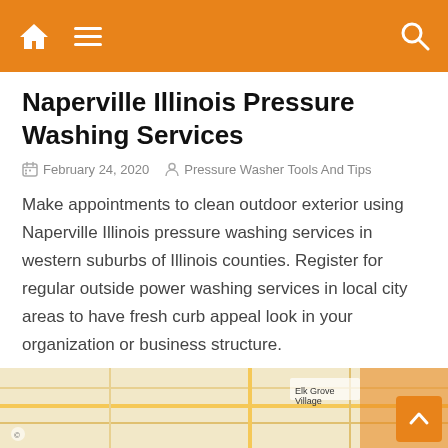Navigation bar with home, menu, and search icons
Naperville Illinois Pressure Washing Services
February 24, 2020  Pressure Washer Tools And Tips
Make appointments to clean outdoor exterior using Naperville Illinois pressure washing services in western suburbs of Illinois counties. Register for regular outside power washing services in local city areas to have fresh curb appeal look in your organization or business structure.
Continue Reading
[Figure (map): Street map showing Elk Grove Village area]